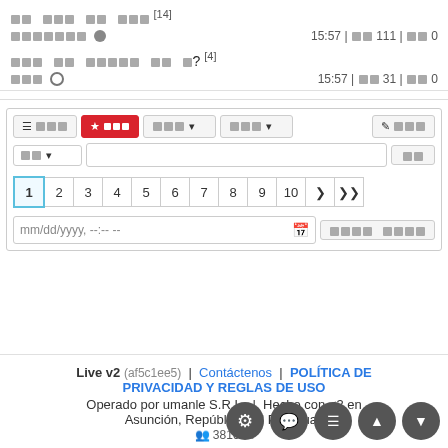□□ □□□ □□ □□□[14]
□□□□□□□ ● 15:57 | □□ 111 | □□ 0
□□□ □□ □□□□□ □□ □? [4]
□□□ ▲ 15:57 | □□ 31 | □□ 0
[Figure (screenshot): Tab navigation bar with active red star tab, dropdown filters, pagination (1-10 >>), date input field, and search controls]
Live v2 (af5c1ee5) | Contáctenos | POLÍTICA DE PRIVACIDAD Y REGLAS DE USO
Operado por umanle S.R.L. | Hecho con <3 en Asunción, República del Paraguay
👥 38165□